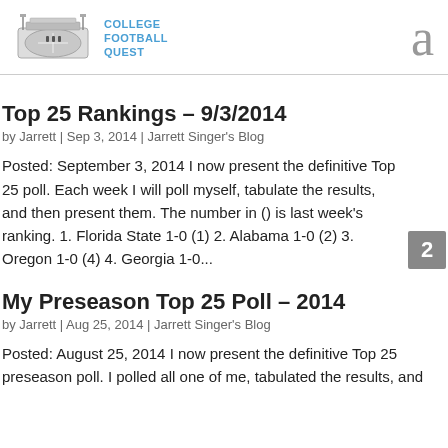College Football Quest
Top 25 Rankings – 9/3/2014
by Jarrett | Sep 3, 2014 | Jarrett Singer's Blog
Posted: September 3, 2014 I now present the definitive Top 25 poll. Each week I will poll myself, tabulate the results, and then present them. The number in () is last week's ranking. 1. Florida State 1-0 (1) 2. Alabama 1-0 (2) 3. Oregon 1-0 (4) 4. Georgia 1-0...
My Preseason Top 25 Poll – 2014
by Jarrett | Aug 25, 2014 | Jarrett Singer's Blog
Posted: August 25, 2014 I now present the definitive Top 25 preseason poll. I polled all one of me, tabulated the results, and